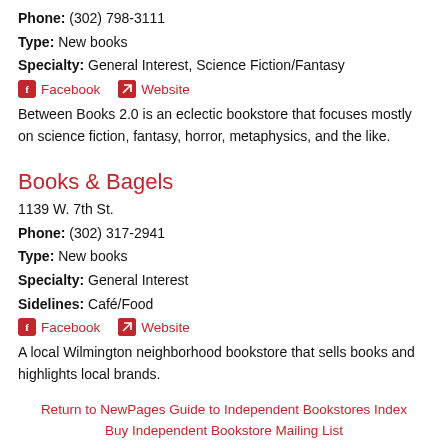Phone: (302) 798-3111
Type: New books
Specialty: General Interest, Science Fiction/Fantasy
Facebook  Website
Between Books 2.0 is an eclectic bookstore that focuses mostly on science fiction, fantasy, horror, metaphysics, and the like.
Books & Bagels
1139 W. 7th St.
Phone: (302) 317-2941
Type: New books
Specialty: General Interest
Sidelines: Café/Food
Facebook  Website
A local Wilmington neighborhood bookstore that sells books and highlights local brands.
Return to NewPages Guide to Independent Bookstores Index
Buy Independent Bookstore Mailing List